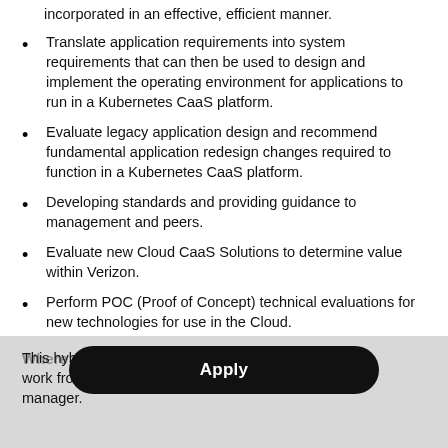incorporated in an effective, efficient manner.
Translate application requirements into system requirements that can then be used to design and implement the operating environment for applications to run in a Kubernetes CaaS platform.
Evaluate legacy application design and recommend fundamental application redesign changes required to function in a Kubernetes CaaS platform.
Developing standards and providing guidance to management and peers.
Evaluate new Cloud CaaS Solutions to determine value within Verizon.
Perform POC (Proof of Concept) technical evaluations for new technologies for use in the Cloud.
Where you'll be working...
This hybrid ... t includes work from ... the manager.